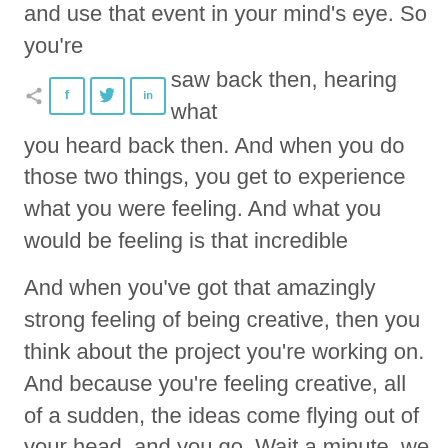and use that event in your mind's eye. So you're seeing what you saw back then, hearing what you heard back then. And when you do those two things, you get to experience what you were feeling. And what you would be feeling is that incredible creative energy inside your body. And you can even amp that up a bit. So it gets really, really strong.
And when you've got that amazingly strong feeling of being creative, then you think about the project you're working on. And because you're feeling creative, all of a sudden, the ideas come flying out of your head, and you go, Wait a minute, we could do this, and this and this and